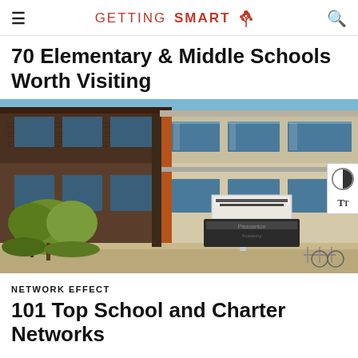GETTING SMART
70 Elementary & Middle Schools Worth Visiting
[Figure (photo): Exterior of a modern two-story school building with brick and stucco facade, green trees in front, and a sign reading 'Everest Public High School' / 'Pleasanton' in front. Bicycle racks visible at right.]
NETWORK EFFECT
101 Top School and Charter Networks